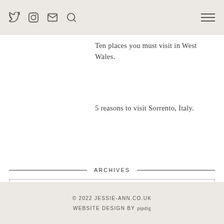[Header bar with social icons: Twitter, Instagram, Email, Search, and hamburger menu]
Ten places you must visit in West Wales.
5 reasons to visit Sorrento, Italy.
ARCHIVES
Select Month
© 2022 JESSIE-ANN.CO.UK WEBSITE DESIGN BY pipdig